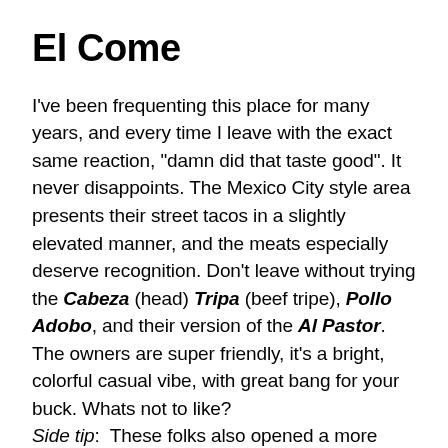El Come
I’ve been frequenting this place for many years, and every time I leave with the exact same reaction, “damn did that taste good”. It never disappoints. The Mexico City style area presents their street tacos in a slightly elevated manner, and the meats especially deserve recognition. Don’t leave without trying the Cabeza (head) Tripa (beef tripe), Pollo Adobo, and their version of the Al Pastor. The owners are super friendly, it’s a bright, colorful casual vibe, with great bang for your buck. Whats not to like?
Side tip: These folks also opened a more upscale, energetic mezcalaria speakeasy next